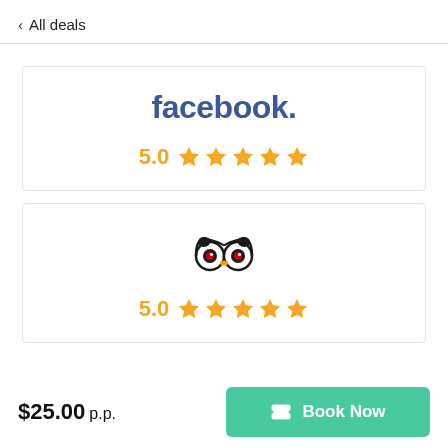< All deals
[Figure (logo): Facebook rating card showing 'facebook.' logo and 5.0 rating with 5 gold stars]
[Figure (logo): TripAdvisor rating card showing owl logo and 5.0 rating with 5 gold stars]
$25.00 p.p.
Book Now